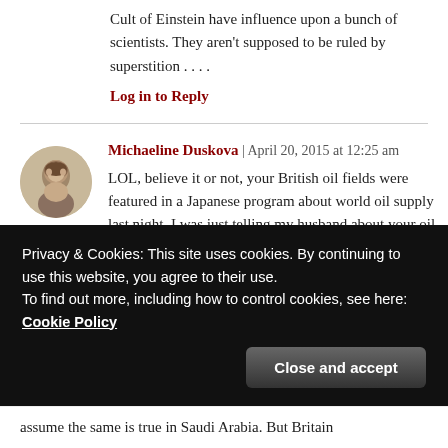Cult of Einstein have influence upon a bunch of scientists. They aren't supposed to be ruled by superstition . . . .
Log in to Reply
[Figure (photo): Circular avatar photo of Michaeline Duskova, black and white vintage style portrait]
Michaeline Duskova | April 20, 2015 at 12:25 am
LOL, believe it or not, your British oil fields were featured in a Japanese program about world oil supply last night. I was just telling my husband about your oil fields when a map showed up on the TV screen — the major oil fields of the world in bright,
Privacy & Cookies: This site uses cookies. By continuing to use this website, you agree to their use.
To find out more, including how to control cookies, see here: Cookie Policy
assume the same is true in Saudi Arabia. But Britain